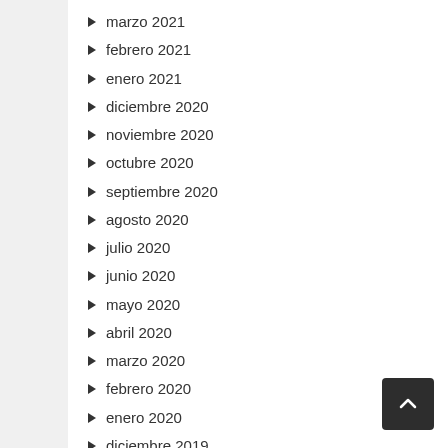marzo 2021
febrero 2021
enero 2021
diciembre 2020
noviembre 2020
octubre 2020
septiembre 2020
agosto 2020
julio 2020
junio 2020
mayo 2020
abril 2020
marzo 2020
febrero 2020
enero 2020
diciembre 2019
noviembre 2019
octubre 2019
septiembre 2019